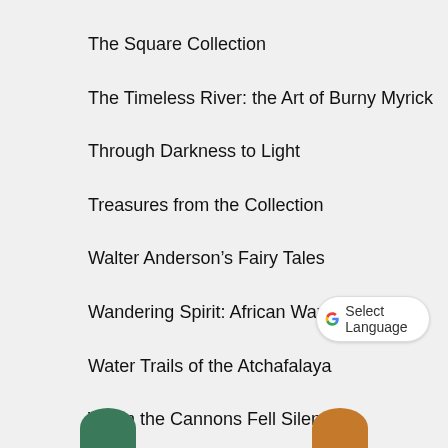The Square Collection
The Timeless River: the Art of Burny Myrick
Through Darkness to Light
Treasures from the Collection
Walter Anderson's Fairy Tales
Wandering Spirit: African Wax Prints
Water Trails of the Atchafalaya
When the Cannons Fell Silent
[Figure (other): Google Translate 'Select Language' button widget in bottom right corner, and two partial circles (green and orange) at the bottom of the page]